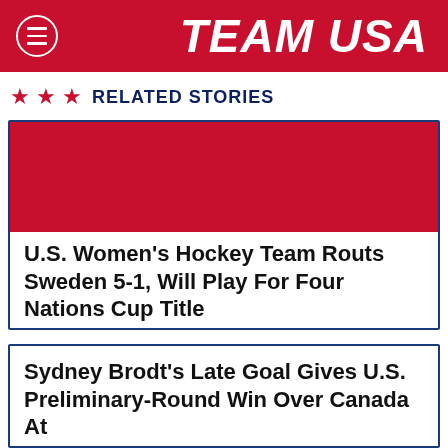TEAM USA
RELATED STORIES
U.S. Women's Hockey Team Routs Sweden 5-1, Will Play For Four Nations Cup Title
Sydney Brodt's Late Goal Gives U.S. Preliminary-Round Win Over Canada At